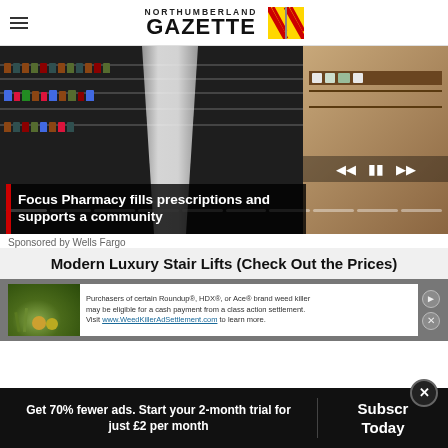NORTHUMBERLAND GAZETTE
[Figure (photo): Pharmacy shelves with bottles and products, a white draped figure in center, and wooden shelving on the right. Slideshow with playback controls and progress dots.]
Focus Pharmacy fills prescriptions and supports a community
Sponsored by Wells Fargo
Modern Luxury Stair Lifts (Check Out the Prices)
[Figure (photo): Advertisement banner: image of weeds/plants on left, text about Roundup/HDX/Ace brand weed killer class action settlement, visit www.WeedKillerAdSettlement.com]
Get 70% fewer ads. Start your 2-month trial for just £2 per month
Subscribe Today